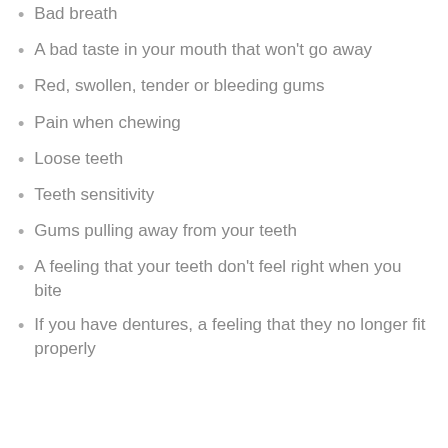Bad breath
A bad taste in your mouth that won't go away
Red, swollen, tender or bleeding gums
Pain when chewing
Loose teeth
Teeth sensitivity
Gums pulling away from your teeth
A feeling that your teeth don't feel right when you bite
If you have dentures, a feeling that they no longer fit properly